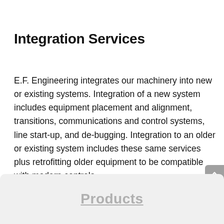Integration Services
E.F. Engineering integrates our machinery into new or existing systems. Integration of a new system includes equipment placement and alignment, transitions, communications and control systems, line start-up, and de-bugging. Integration to an older or existing system includes these same services plus retrofitting older equipment to be compatible with modern controls.
Products